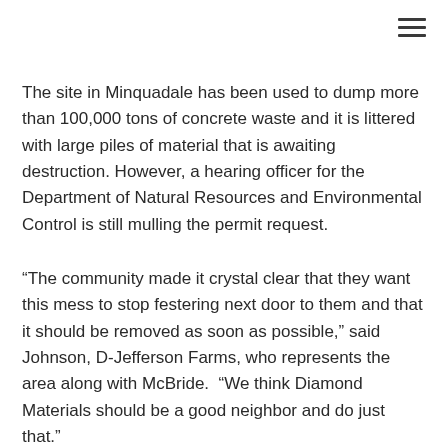The site in Minquadale has been used to dump more than 100,000 tons of concrete waste and it is littered with large piles of material that is awaiting destruction. However, a hearing officer for the Department of Natural Resources and Environmental Control is still mulling the permit request.
“The community made it crystal clear that they want this mess to stop festering next door to them and that it should be removed as soon as possible,” said Johnson, D-Jefferson Farms, who represents the area along with McBride.  “We think Diamond Materials should be a good neighbor and do just that.”
McBride said residents were also concerned about noise